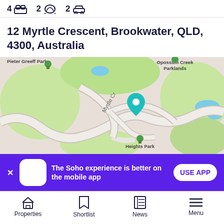4 🛏 2 🛁 2 🚗
12 Myrtle Crescent, Brookwater, QLD, 4300, Australia
[Figure (map): Street map showing 12 Myrtle Crescent, Brookwater QLD with a teal location pin on Myrtle Cr. Nearby landmarks include Pieter Greeff Park, Opossum Creek Parklands, and Heights Park. Roads and green spaces visible.]
The Soho experience is better on the mobile app
USE APP
Properties  Shortlist  News  Menu